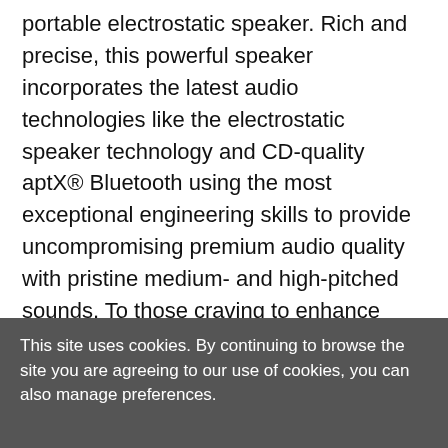portable electrostatic speaker. Rich and precise, this powerful speaker incorporates the latest audio technologies like the electrostatic speaker technology and CD-quality aptX® Bluetooth using the most exceptional engineering skills to provide uncompromising premium audio quality with pristine medium- and high-pitched sounds. To those craving to enhance their lifestyle with a wide variety of music, this speaker will make a perfect escape after a long day's work. You can stream your favorite songs from your smart devices to this speaker wirelessly via Bluetooth or through it, using it as the aptX transmitter to your Hi-Fi stereo system. With a single
This site uses cookies. By continuing to browse the site you are agreeing to our use of cookies, you can also manage preferences.